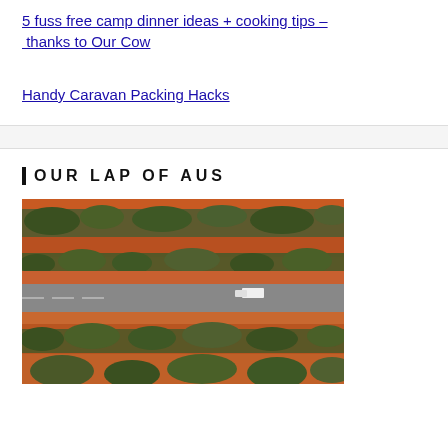5 fuss free camp dinner ideas + cooking tips – thanks to Our Cow
Handy Caravan Packing Hacks
OUR LAP OF AUS
[Figure (photo): Aerial drone photo of a red dirt road through Australian outback landscape with red soil, scattered green bushes and shrubs, and a white caravan/vehicle visible on the grey asphalt road in the center of the frame.]